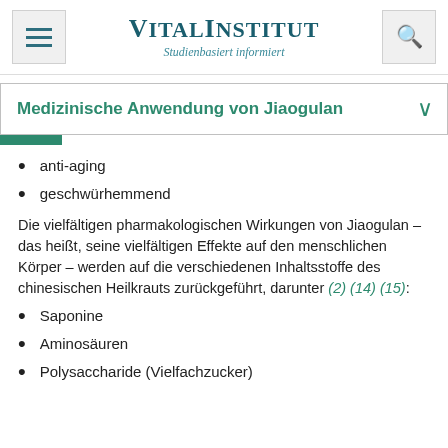VitalInstitut – Studienbasiert informiert
Medizinische Anwendung von Jiaogulan
anti-aging
geschwürhemmend
Die vielfältigen pharmakologischen Wirkungen von Jiaogulan – das heißt, seine vielfältigen Effekte auf den menschlichen Körper – werden auf die verschiedenen Inhaltsstoffe des chinesischen Heilkrauts zurückgeführt, darunter (2) (14) (15):
Saponine
Aminosäuren
Polysaccharide (Vielfachzucker)